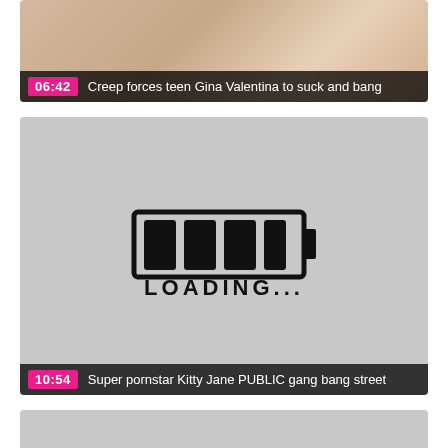[Figure (screenshot): Video thumbnail card 1: skin-tone image (top portion visible) with pink duration badge '06:42' and dark overlay title bar reading 'Creep forces teen Gina Valentina to suck and bang']
[Figure (screenshot): Video thumbnail card 2: gray loading placeholder with hand-drawn loading bar icon and 'LOADING...' text. Pink duration badge '10:54' and dark overlay title bar reading 'Super pornstar Kitty Jane PUBLIC gang bang street']
[Figure (screenshot): Video thumbnail card 3: gray loading placeholder with hand-drawn loading bar icon (partially visible, cut off at bottom of page)]